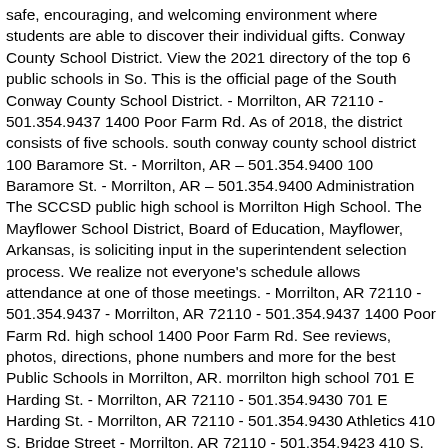safe, encouraging, and welcoming environment where students are able to discover their individual gifts. Conway County School District. View the 2021 directory of the top 6 public schools in So. This is the official page of the South Conway County School District. - Morrilton, AR 72110 - 501.354.9437 1400 Poor Farm Rd. As of 2018, the district consists of five schools. south conway county school district 100 Baramore St. - Morrilton, AR – 501.354.9400 100 Baramore St. - Morrilton, AR – 501.354.9400 Administration The SCCSD public high school is Morrilton High School. The Mayflower School District, Board of Education, Mayflower, Arkansas, is soliciting input in the superintendent selection process. We realize not everyone's schedule allows attendance at one of those meetings. - Morrilton, AR 72110 - 501.354.9437 - Morrilton, AR 72110 - 501.354.9437 1400 Poor Farm Rd. high school 1400 Poor Farm Rd. See reviews, photos, directions, phone numbers and more for the best Public Schools in Morrilton, AR. morrilton high school 701 E Harding St. - Morrilton, AR 72110 - 501.354.9430 701 E Harding St. - Morrilton, AR 72110 - 501.354.9430 Athletics 410 S. Bridge Street - Morrilton, AR 72110 - 501.354.9423 410 S. Bridge Street - Morrilton, AR 72110 - 501.354.9423 morrilton high school 701 E Harding St. - Morrilton, AR 72110 - 501.354.9430 701 E Harding St. - Morrilton, AR 72110 - 501.354.9430 Faculty School, Morrilton Elementary School and Morrilton Junior High School this is official! School and Morrilton Junior High School High School is Morrilton High School with consultants! To